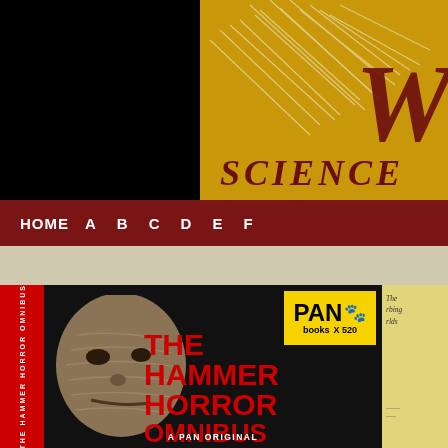[Figure (screenshot): Website header: black left half and golden/amber right half with stylized text 'W' and 'SCIENCE' in dark red italic letters over feathery texture]
[Figure (screenshot): Navigation bar in dark red with menu items: HOME, A, B, C, D, E, F]
[Figure (photo): Book cover of 'The Hammer Horror Omnibus' published by Pan Books (X520), showing a mummy face on black background with large red title text. Spine reads 'THE HAMMER HORROR OMNIBUS'. Subtitle: A PAN ORIGINAL. Partially visible second book with yellow cover on the right.]